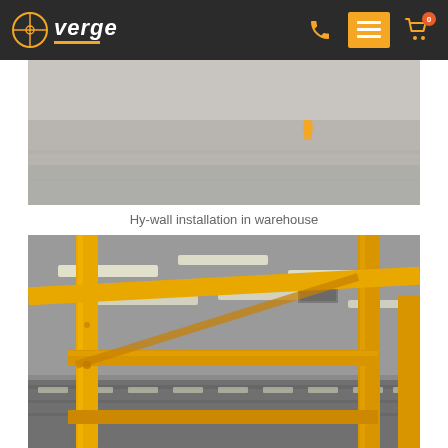verge
[Figure (photo): Hy-wall installation in warehouse - top view showing concrete floor with yellow bollard]
Hy-wall installation in warehouse
[Figure (photo): Interior of warehouse showing yellow metal framing/guard rail structure with fluorescent ceiling lights and storage shelving in background]